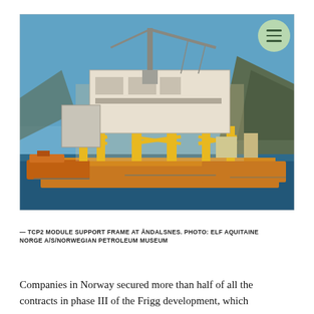[Figure (photo): Offshore oil platform module support frame (TCP2) being transported by barge on water, with orange tugboats alongside. A large crane is visible on the structure. Mountains visible in background under blue sky. Photo taken at Åndalsnes.]
— TCP2 MODULE SUPPORT FRAME AT ÅNDALSNES. PHOTO: ELF AQUITAINE NORGE A/S/NORWEGIAN PETROLEUM MUSEUM
Companies in Norway secured more than half of all the contracts in phase III of the Frigg development, which